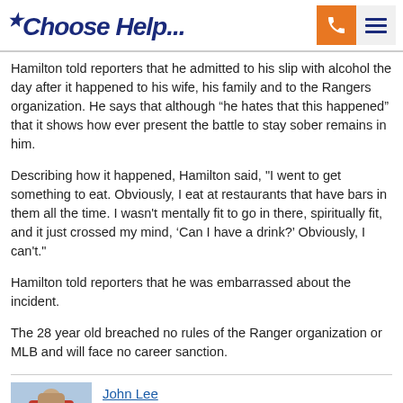*Choose Help...
Hamilton told reporters that he admitted to his slip with alcohol the day after it happened to his wife, his family and to the Rangers organization. He says that although “he hates that this happened” that it shows how ever present the battle to stay sober remains in him.
Describing how it happened, Hamilton said, "I went to get something to eat. Obviously, I eat at restaurants that have bars in them all the time. I wasn't mentally fit to go in there, spiritually fit, and it just crossed my mind, ‘Can I have a drink?’ Obviously, I can't."
Hamilton told reporters that he was embarrassed about the incident.
The 28 year old breached no rules of the Ranger organization or MLB and will face no career sanction.
John Lee
Editor
Twitter | Facebook